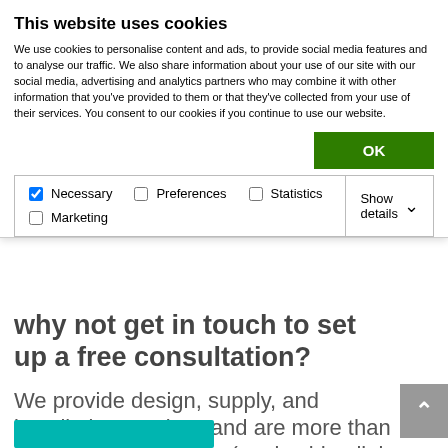This website uses cookies
We use cookies to personalise content and ads, to provide social media features and to analyse our traffic. We also share information about your use of our site with our social media, advertising and analytics partners who may combine it with other information that you've provided to them or that they've collected from your use of their services. You consent to our cookies if you continue to use our website.
OK
Necessary   Preferences   Statistics   Marketing   Show details
why not get in touch to set up a free consultation?
We provide design, supply, and installation services and are more than happy to meet on site (or via video link if more appropriate) to discuss your requirements and objectives.